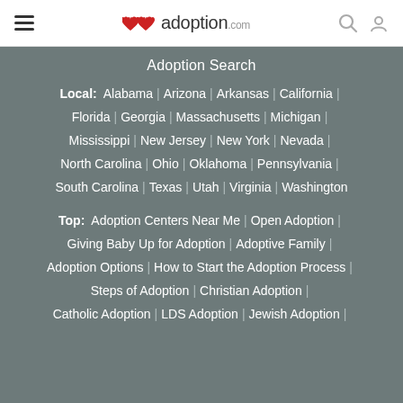adoption.com
Adoption Search
Local: Alabama | Arizona | Arkansas | California | Florida | Georgia | Massachusetts | Michigan | Mississippi | New Jersey | New York | Nevada | North Carolina | Ohio | Oklahoma | Pennsylvania | South Carolina | Texas | Utah | Virginia | Washington
Top: Adoption Centers Near Me | Open Adoption | Giving Baby Up for Adoption | Adoptive Family | Adoption Options | How to Start the Adoption Process | Steps of Adoption | Christian Adoption | Catholic Adoption | LDS Adoption | Jewish Adoption